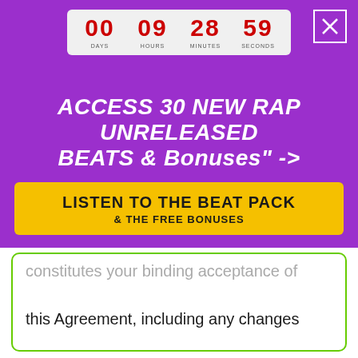[Figure (infographic): Countdown timer showing 00 DAYS, 09 HOURS, 28 MINUTES, 59 SECONDS on a light gray background panel]
ACCESS 30 NEW RAP UNRELEASED BEATS & Bonuses" ->
[Figure (infographic): Yellow call-to-action button: LISTEN TO THE BEAT PACK & THE FREE BONUSES]
constitutes your binding acceptance of this Agreement, including any changes or modifications